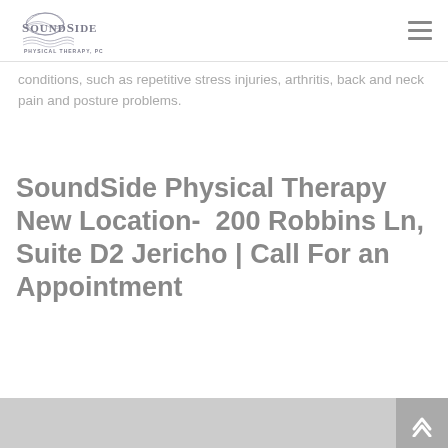SoundSide Physical Therapy, PC
conditions, such as repetitive stress injuries, arthritis, back and neck pain and posture problems.
SoundSide Physical Therapy New Location-  200 Robbins Ln, Suite D2 Jericho | Call For an Appointment